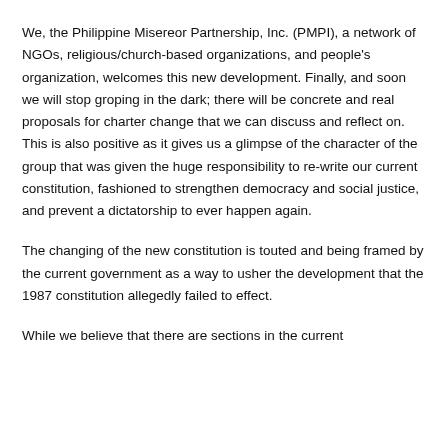We, the Philippine Misereor Partnership, Inc. (PMPI), a network of NGOs, religious/church-based organizations, and people's organization, welcomes this new development. Finally, and soon we will stop groping in the dark; there will be concrete and real proposals for charter change that we can discuss and reflect on. This is also positive as it gives us a glimpse of the character of the group that was given the huge responsibility to re-write our current constitution, fashioned to strengthen democracy and social justice, and prevent a dictatorship to ever happen again.
The changing of the new constitution is touted and being framed by the current government as a way to usher the development that the 1987 constitution allegedly failed to effect.
While we believe that there are sections in the current